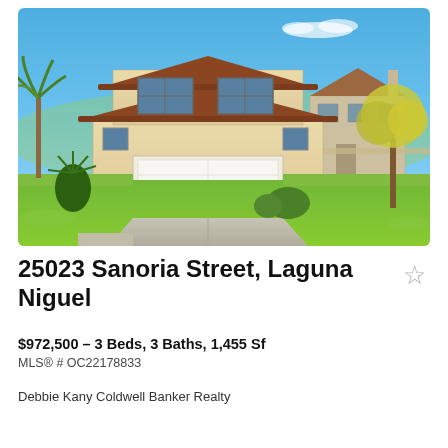[Figure (photo): Exterior photo of a two-story residential home with terracotta tile roof, beige stucco exterior, two-car garage, concrete driveway, green lawn, palm tree on the left, deciduous tree on the right, blue sky background. Laguna Niguel, CA.]
25023 Sanoria Street, Laguna Niguel
$972,500 – 3 Beds, 3 Baths, 1,455 Sf
MLS® # OC22178833
Debbie Kany Coldwell Banker Realty